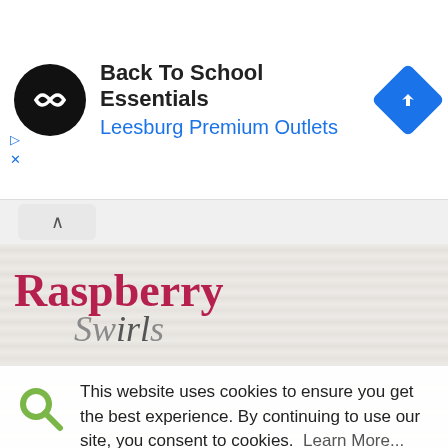[Figure (screenshot): Advertisement banner: black circular logo with white infinity-like icon, text 'Back To School Essentials' in bold black, 'Leesburg Premium Outlets' in blue, blue diamond navigation icon on right, ad controls (play and X icons) at bottom left]
[Figure (screenshot): Collapse/chevron-up button row in light gray]
[Figure (logo): Raspberry Swirls blog logo — 'Raspberry' in large pink/magenta serif font, 'Swirls' in smaller decorative gray italic font, on a wood-grain textured background]
This website uses cookies to ensure you get the best experience. By continuing to use our site, you consent to cookies.  Learn More...
Got It!